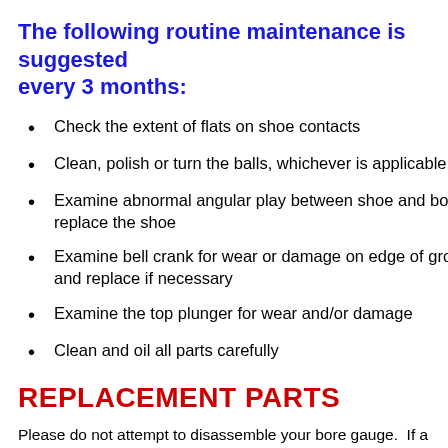The following routine maintenance is suggested every 3 months:
Check the extent of flats on shoe contacts
Clean, polish or turn the balls, whichever is applicable,
Examine abnormal angular play between shoe and bolt; replace the shoe
Examine bell crank for wear or damage on edge of groove and replace if necessary
Examine the top plunger for wear and/or damage
Clean and oil all parts carefully
REPLACEMENT PARTS
Please do not attempt to disassemble your bore gauge.  If a part on your bore gauge wears or breaks, SFP has replacement service and repair.  While some components on the gauge a...